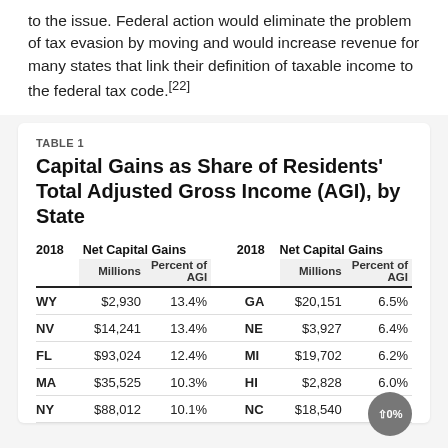to the issue. Federal action would eliminate the problem of tax evasion by moving and would increase revenue for many states that link their definition of taxable income to the federal tax code.[22]
TABLE 1
Capital Gains as Share of Residents' Total Adjusted Gross Income (AGI), by State
|  | Net Capital Gains Millions | Net Capital Gains Percent of AGI |  | Net Capital Gains Millions | Net Capital Gains Percent of AGI |
| --- | --- | --- | --- | --- | --- |
| WY | $2,930 | 13.4% | GA | $20,151 | 6.5% |
| NV | $14,241 | 13.4% | NE | $3,927 | 6.4% |
| FL | $93,024 | 12.4% | MI | $19,702 | 6.2% |
| MA | $35,525 | 10.3% | HI | $2,828 | 6.0% |
| NY | $88,012 | 10.1% | NC | $18,540 | 6.0% |